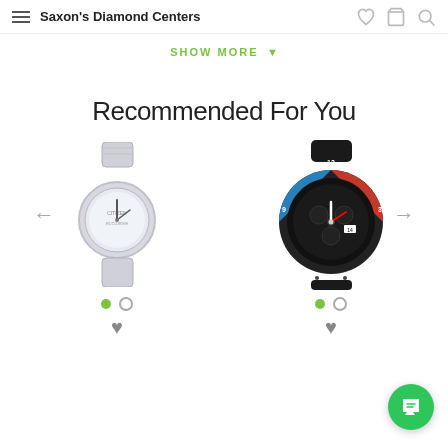Saxon's Diamond Centers
SHOW MORE
Recommended For You
[Figure (photo): Women's silver bracelet watch with round white dial and linked bracelet band, with left navigation arrow]
[Figure (photo): Men's sporty chronograph watch with black case, red and blue bezel, dark dial, and black rubber strap, with right navigation arrow]